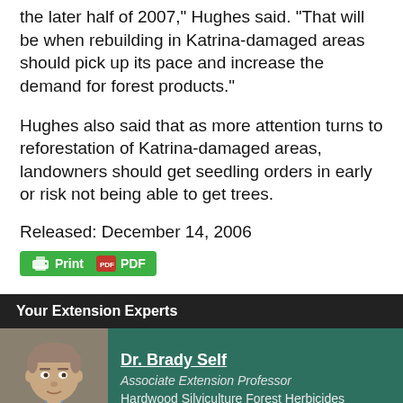the later half of 2007," Hughes said. "That will be when rebuilding in Katrina-damaged areas should pick up its pace and increase the demand for forest products."
Hughes also said that as more attention turns to reforestation of Katrina-damaged areas, landowners should get seedling orders in early or risk not being able to get trees.
Released: December 14, 2006
[Figure (other): Print and PDF buttons in green bar]
Your Extension Experts
[Figure (photo): Headshot photo of Dr. Brady Self]
Dr. Brady Self
Associate Extension Professor
Hardwood Silviculture Forest Herbicides
Related News